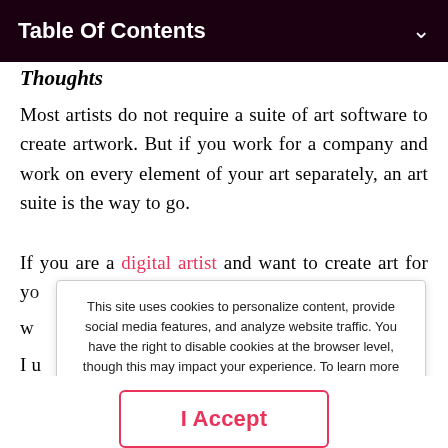Table Of Contents
Thoughts
Most artists do not require a suite of art software to create artwork. But if you work for a company and work on every element of your art separately, an art suite is the way to go.
If you are a digital artist and want to create art for yo... ro w...
This site uses cookies to personalize content, provide social media features, and analyze website traffic. You have the right to disable cookies at the browser level, though this may impact your experience. To learn more or opt-out, read Cookie Policy. Please also read the Privacy Notice and Terms of Use. By choosing I Accept, you consent to our use of cookies and other tracking technologies.
I Accept